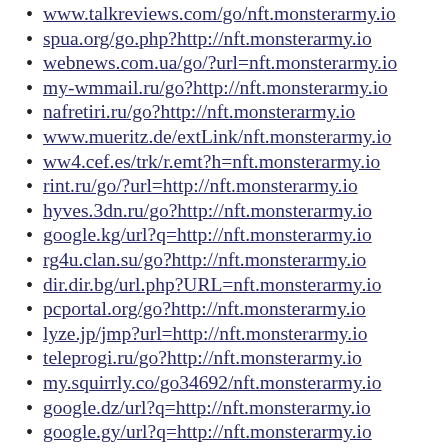www.talkreviews.com/go/nft.monsterarmy.io
spua.org/go.php?http://nft.monsterarmy.io
webnews.com.ua/go/?url=nft.monsterarmy.io
my-wmmail.ru/go?http://nft.monsterarmy.io
nafretiri.ru/go?http://nft.monsterarmy.io
www.mueritz.de/extLink/nft.monsterarmy.io
ww4.cef.es/trk/r.emt?h=nft.monsterarmy.io
rint.ru/go/?url=http://nft.monsterarmy.io
hyves.3dn.ru/go?http://nft.monsterarmy.io
google.kg/url?q=http://nft.monsterarmy.io
rg4u.clan.su/go?http://nft.monsterarmy.io
dir.dir.bg/url.php?URL=nft.monsterarmy.io
pcportal.org/go?http://nft.monsterarmy.io
lyze.jp/jmp?url=http://nft.monsterarmy.io
teleprogi.ru/go?http://nft.monsterarmy.io
my.squirrly.co/go34692/nft.monsterarmy.io
google.dz/url?q=http://nft.monsterarmy.io
google.gy/url?q=http://nft.monsterarmy.io
google.md/url?q=http://nft.monsterarmy.io